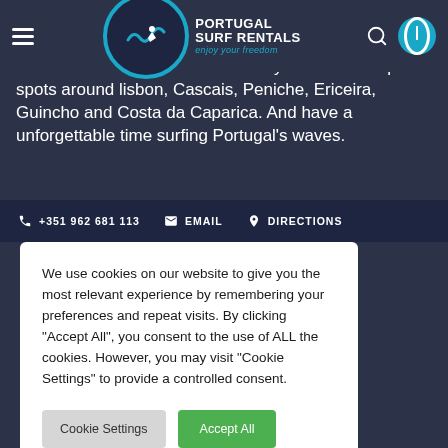[Figure (logo): Portugal Surf Rentals logo — circular badge with wave/surfer icon, teal border, tagline 'enjoy your freedom']
where to deliver your surfboard to your hotel or top surf spots around lisbon, Cascais, Peniche, Ericeira, Guincho and Costa da Caparica. And have a unforgettable time surfing Portugal's waves.
+351 962 681 113   EMAIL   DIRECTIONS
We use cookies on our website to give you the most relevant experience by remembering your preferences and repeat visits. By clicking “Accept All”, you consent to the use of ALL the cookies. However, you may visit "Cookie Settings" to provide a controlled consent.
Cookie Settings   Accept All